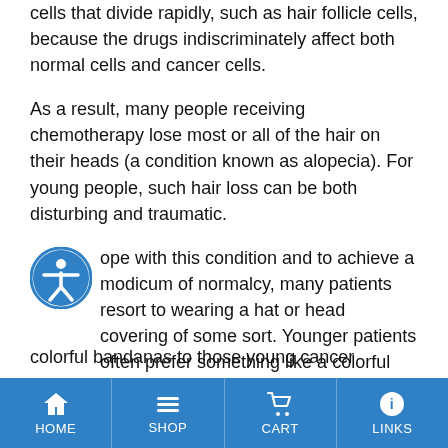cells that divide rapidly, such as hair follicle cells, because the drugs indiscriminately affect both normal cells and cancer cells.
As a result, many people receiving chemotherapy lose most or all of the hair on their heads (a condition known as alopecia). For young people, such hair loss can be both disturbing and traumatic.
ope with this condition and to achieve a modicum of normalcy, many patients resort to wearing a hat or head covering of some sort. Younger patients often prefer something like a colorful bandana for their head covering. And Bandana Claus accommodates them.
e in Daniel Project is distributing colorful bandanas to those young cancer patients at
HOME  SHOP  CART  LINKS